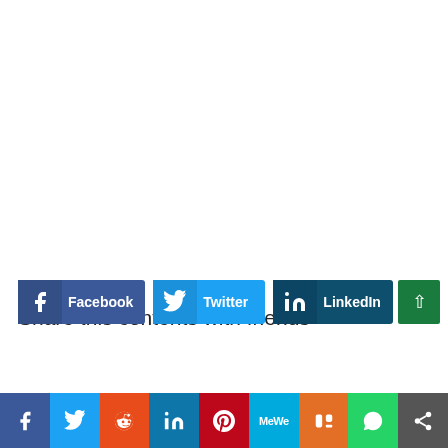Share this contents with friends
[Figure (infographic): Social share buttons row: Facebook, Twitter, LinkedIn buttons, plus a green scroll-to-top button]
[Figure (infographic): Bottom icon bar with social media icons: Facebook, Twitter, Reddit, LinkedIn, Pinterest, MeWe, Mix, WhatsApp, Share]